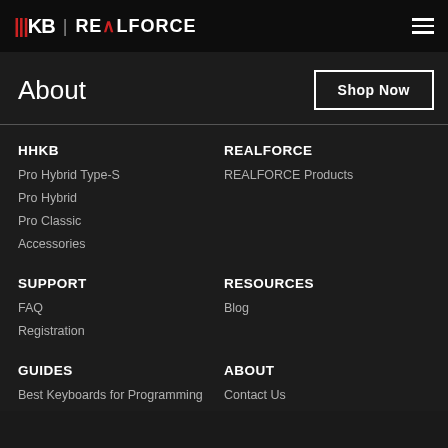HHKB | REALFORCE
About
Shop Now
HHKB
Pro Hybrid Type-S
Pro Hybrid
Pro Classic
Accessories
REALFORCE
REALFORCE Products
Support
FAQ
Registration
Resources
Blog
Guides
Best Keyboards for Programming
About
Contact Us